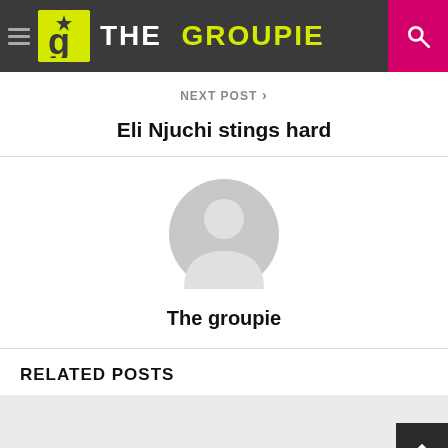THE GROUPIE
NEXT POST >
Eli Njuchi stings hard
[Figure (illustration): Default user avatar silhouette in gray circle]
The groupie
RELATED POSTS
[Figure (photo): Thumbnail image area for related post (light gray placeholder)]